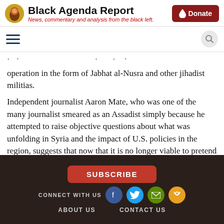Black Agenda Report — News, commentary and analysis from the black left.
operation in the form of Jabhat al-Nusra and other jihadist militias.
Independent journalist Aaron Mate, who was one of the many journalist smeared as an Assadist simply because he attempted to raise objective questions about what was unfolding in Syria and the impact of U.S. policies in the region, suggests that now that it is no longer viable to pretend that the FSA and the so-called moderate rebels ever existed, all those who smeared independent analysts
SUBSCRIBE   CONNECT WITH US   ABOUT US   CONTACT US